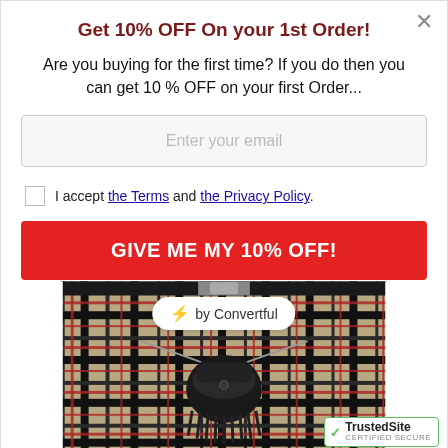Get 10% OFF On your 1st Order!
Are you buying for the first time? If you do then you can get 10 % OFF on your first Order...
Enter your email
I accept the Terms and the Privacy Policy.
GIVE ME MY 10% OFF!
[Figure (photo): Photo of a tartan kilt with a black leather sporran hanging from a chain, worn around the waist. A 'by Convertful' badge overlays the top center.]
⚡ by Convertful
TrustedSite CERTIFIED SECURE